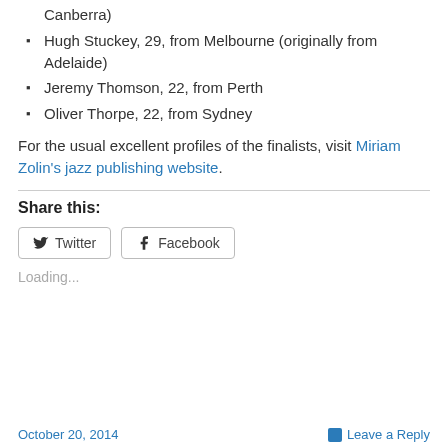Canberra)
Hugh Stuckey, 29, from Melbourne (originally from Adelaide)
Jeremy Thomson, 22, from Perth
Oliver Thorpe, 22, from Sydney
For the usual excellent profiles of the finalists, visit Miriam Zolin's jazz publishing website.
Share this:
Loading...
October 20, 2014   Leave a Reply